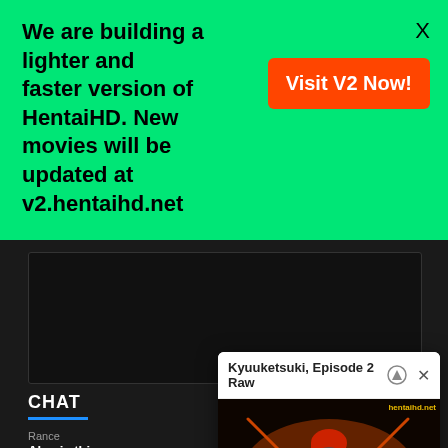We are building a lighter and faster version of HentaiHD. New movies will be updated at v2.hentaihd.net
Visit V2 Now!
X
[Figure (screenshot): Dark video player area]
CHAT
Rance
Also is this co
Rance
?
rasputin
Does anyone
rasputin
I really appre
[Figure (screenshot): Popup video card: Kyuuketsuki, Episode 2 Raw with anime thumbnail and play button]